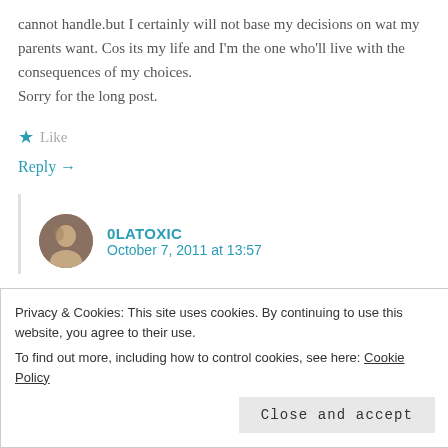cannot handle.but I certainly will not base my decisions on wat my parents want. Cos its my life and I'm the one who'll live with the consequences of my choices.
Sorry for the long post.
★ Like
Reply →
0LATOXIC
October 7, 2011 at 13:57
Privacy & Cookies: This site uses cookies. By continuing to use this website, you agree to their use.
To find out more, including how to control cookies, see here: Cookie Policy
Close and accept